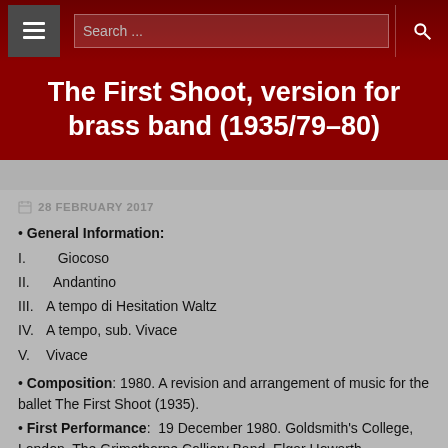Search ...
The First Shoot, version for brass band (1935/79–80)
28 FEBRUARY 2017
• General Information:
I.   Giocoso
II.  Andantino
III. A tempo di Hesitation Waltz
IV. A tempo, sub. Vivace
V. Vivace
• Composition: 1980. A revision and arrangement of music for the ballet The First Shoot (1935).
• First Performance:  19 December 1980. Goldsmith's College, London. The Grimethorpe Colliery Band. Elgar Howarth